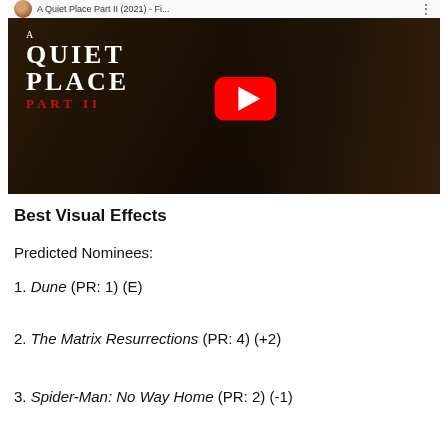[Figure (screenshot): YouTube video thumbnail for 'A Quiet Place Part II (2021)' showing movie title text overlay on left and a woman on right with dark cinematic background, featuring a red YouTube play button in the center. Top bar shows video title text and navigation dots.]
Best Visual Effects
Predicted Nominees:
1. Dune (PR: 1) (E)
2. The Matrix Resurrections (PR: 4) (+2)
3. Spider-Man: No Way Home (PR: 2) (-1)